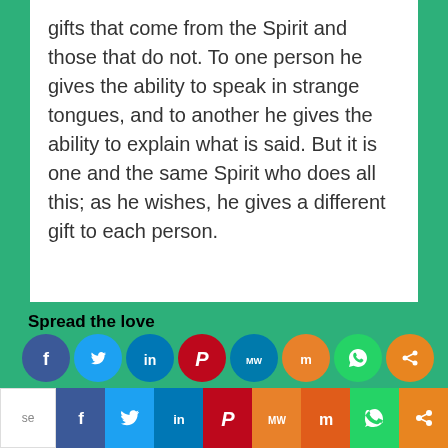gifts that come from the Spirit and those that do not. To one person he gives the ability to speak in strange tongues, and to another he gives the ability to explain what is said. But it is one and the same Spirit who does all this; as he wishes, he gives a different gift to each person.
Spread the love
[Figure (infographic): Row of social media sharing icons: Facebook (blue), Twitter (light blue), LinkedIn (dark blue), Pinterest (red), MeWe (teal), Mix (orange-red), WhatsApp (green), Share (orange)]
[Figure (infographic): Bottom bar with social media icons: Facebook, Twitter, LinkedIn, Pinterest, MeWe, Mix, WhatsApp, Share]